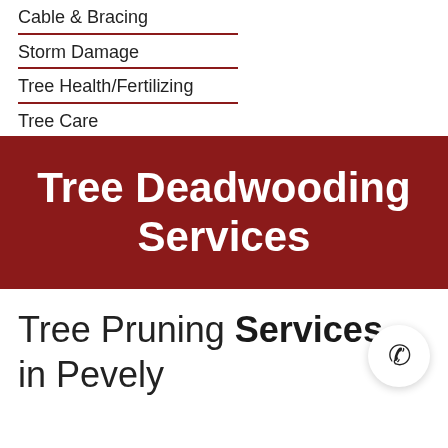Cable & Bracing
Storm Damage
Tree Health/Fertilizing
Tree Care
Tree Deadwooding Services
Tree Pruning Services in Pevely